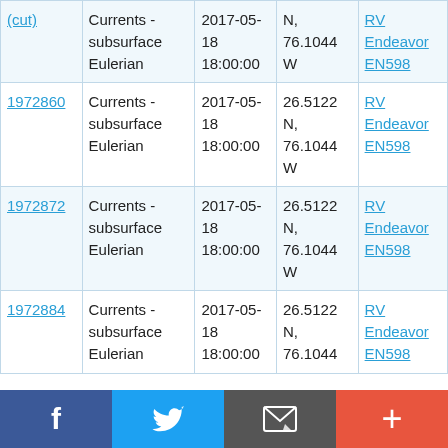| ID | Type | Date | Location | Source |
| --- | --- | --- | --- | --- |
| (partial) | Currents - subsurface Eulerian | 2017-05-18 18:00:00 | N, 76.1044 W | RV Endeavor EN598 |
| 1972860 | Currents - subsurface Eulerian | 2017-05-18 18:00:00 | 26.5122 N, 76.1044 W | RV Endeavor EN598 |
| 1972872 | Currents - subsurface Eulerian | 2017-05-18 18:00:00 | 26.5122 N, 76.1044 W | RV Endeavor EN598 |
| 1972884 | Currents - subsurface Eulerian | 2017-05-18 18:00:00 | 26.5122 N, 76.1044 W (partial) | RV Endeavor EN598 (partial) |
Social share bar: Facebook, Twitter, Email, Add